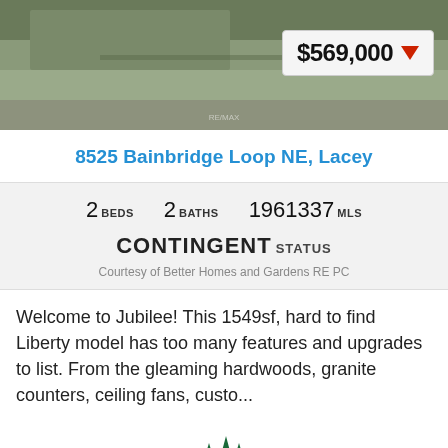[Figure (photo): Top portion of a house exterior photo with green/gray tones, partially cropped]
8525 Bainbridge Loop NE, Lacey
2 BEDS   2 BATHS   1961337 MLS
CONTINGENT STATUS
Courtesy of Better Homes and Gardens RE PC
Welcome to Jubilee! This 1549sf, hard to find Liberty model has too many features and upgrades to list. From the gleaming hardwoods, granite counters, ceiling fans, custo...
[Figure (logo): Green pine tree logo mark]
[Figure (photo): Bottom blue/aerial photo, partially visible]